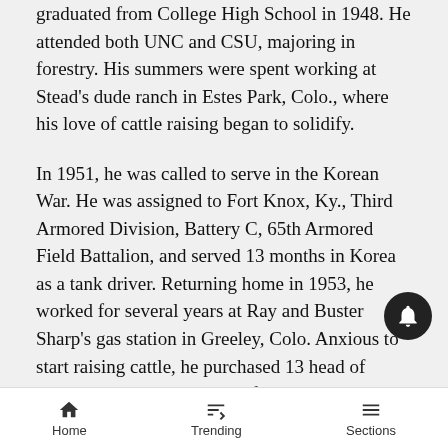graduated from College High School in 1948. He attended both UNC and CSU, majoring in forestry. His summers were spent working at Stead's dude ranch in Estes Park, Colo., where his love of cattle raising began to solidify.
In 1951, he was called to serve in the Korean War. He was assigned to Fort Knox, Ky., Third Armored Division, Battery C, 65th Armored Field Battalion, and served 13 months in Korea as a tank driver. Returning home in 1953, he worked for several years at Ray and Buster Sharp's gas station in Greeley, Colo. Anxious to start raising cattle, he purchased 13 head of cattle. His mentor and good friend, Stow Witwer, encouraged him to enter into partnership with Andy Barnett of Eaton, Colo. He later leased and bought the Barnett Ranch and spent many happy and productive
Home   Trending   Sections